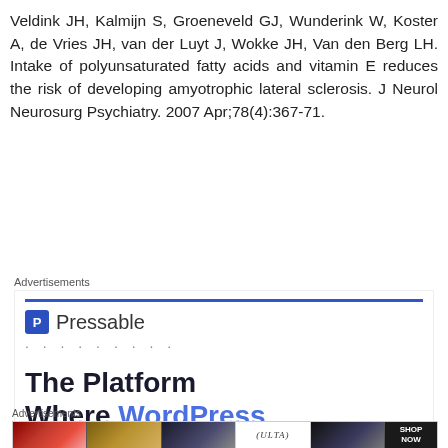Veldink JH, Kalmijn S, Groeneveld GJ, Wunderink W, Koster A, de Vries JH, van der Luyt J, Wokke JH, Van den Berg LH. Intake of polyunsaturated fatty acids and vitamin E reduces the risk of developing amyotrophic lateral sclerosis. J Neurol Neurosurg Psychiatry. 2007 Apr;78(4):367-71.
Advertisements
[Figure (other): Pressable advertisement: logo with blue P icon and 'Pressable' text, dots pattern, large bold headline 'The Platform Where WordPress Works Best' with 'WordPress' and 'Best' in blue, and a 'SEE PRICING' button]
Advertisements
[Figure (other): Ulta Beauty advertisement banner showing makeup/cosmetics images: lips with lipstick, makeup brushes, eyes with eyeshadow, Ulta logo, eyes with eyeshadow, and 'SHOP NOW' text on dark background]